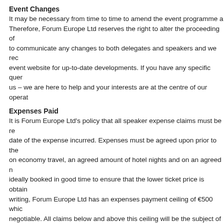Event Changes
It may be necessary from time to time to amend the event programme a... Therefore, Forum Europe Ltd reserves the right to alter the proceeding of... to communicate any changes to both delegates and speakers and we rec... event website for up-to-date developments. If you have any specific quer... us – we are here to help and your interests are at the centre of our operat...
Expenses Paid
It is Forum Europe Ltd's policy that all speaker expense claims must be re... date of the expense incurred. Expenses must be agreed upon prior to the... on economy travel, an agreed amount of hotel nights and on an agreed n... ideally booked in good time to ensure that the lower ticket price is obtain... writing, Forum Europe Ltd has an expenses payment ceiling of €500 whic... negotiable. All claims below and above this ceiling will be the subject of re... the discretion of Forum Europe Ltd. We reserve the right to refuse the pa... circumstances. We are unable to pay for phone calls, television services o... purchases. If clarification is required, please contact Forum Europe Ltd pr...
B.) Event Proceedings Purchase Terms
Forum Europe Ltd will post or email the conference proceedings to th...
Payments can be made via credit card (online or offline), cheque or ba...
Proceedings will be posted out upon clearance of correct funds.
Warranty – We warrant that the products we supply will at the time of... workmanship and materials and correspond in all material respects w...